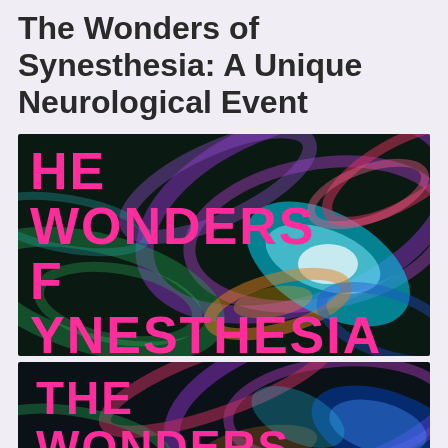The Wonders of Synesthesia: A Unique Neurological Event
[Figure (illustration): Abstract colorful swirling light strands on dark background with bold pink text overlay reading 'THE WONDERS OF SYNESTHESIA' — book cover style image]
[Figure (illustration): Partial view of same book cover with abstract colorful swirling lights on dark background, pink bold text reading 'THE WONDERS' partially visible at bottom of page]